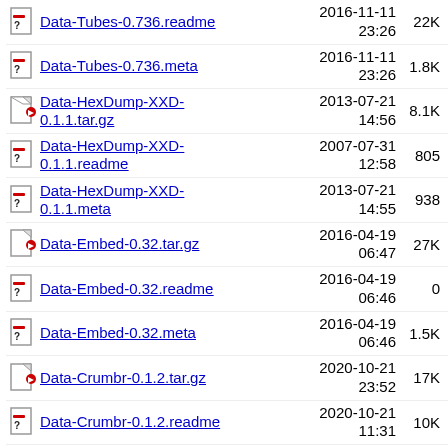Data-Tubes-0.736.readme 2016-11-11 23:26 22K
Data-Tubes-0.736.meta 2016-11-11 23:26 1.8K
Data-HexDump-XXD-0.1.1.tar.gz 2013-07-21 14:56 8.1K
Data-HexDump-XXD-0.1.1.readme 2007-07-31 12:58 805
Data-HexDump-XXD-0.1.1.meta 2013-07-21 14:55 938
Data-Embed-0.32.tar.gz 2016-04-19 06:47 27K
Data-Embed-0.32.readme 2016-04-19 06:46 0
Data-Embed-0.32.meta 2016-04-19 06:46 1.5K
Data-Crumbr-0.1.2.tar.gz 2020-10-21 23:52 17K
Data-Crumbr-0.1.2.readme 2020-10-21 11:31 10K
Data-Crumbr-0.1.2.meta 2020-10-21 11:31 548
2015-12-10 (partial)